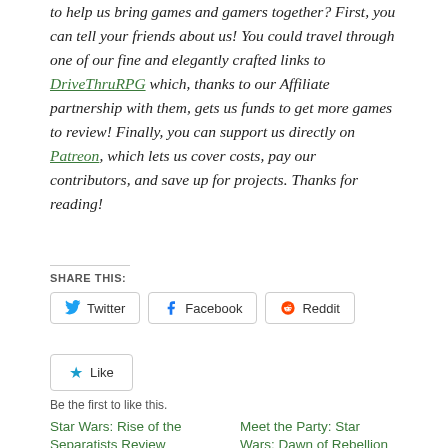to help us bring games and gamers together? First, you can tell your friends about us! You could travel through one of our fine and elegantly crafted links to DriveThruRPG which, thanks to our Affiliate partnership with them, gets us funds to get more games to review! Finally, you can support us directly on Patreon, which lets us cover costs, pay our contributors, and save up for projects. Thanks for reading!
SHARE THIS:
Twitter
Facebook
Reddit
Like
Be the first to like this.
Star Wars: Rise of the Separatists Review
Meet the Party: Star Wars: Dawn of Rebellion